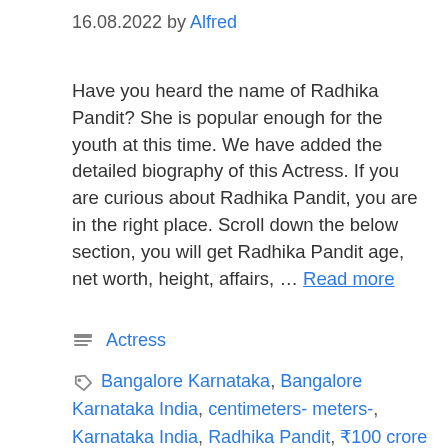16.08.2022 by Alfred
Have you heard the name of Radhika Pandit? She is popular enough for the youth at this time. We have added the detailed biography of this Actress. If you are curious about Radhika Pandit, you are in the right place. Scroll down the below section, you will get Radhika Pandit age, net worth, height, affairs, … Read more
Actress
Bangalore Karnataka, Bangalore Karnataka India, centimeters- meters-, Karnataka India, Radhika Pandit, ₹100 crore